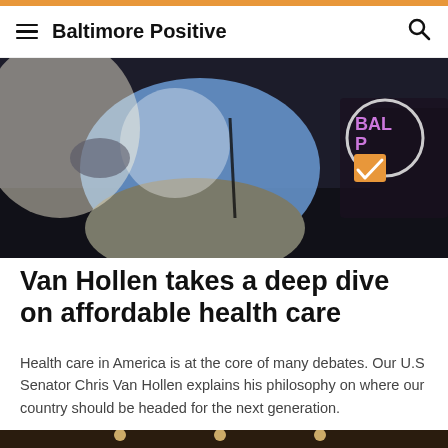Baltimore Positive
[Figure (photo): A man in a light blue shirt seated, with a Baltimore Positive logo visible in the upper right corner of the image.]
Van Hollen takes a deep dive on affordable health care
Health care in America is at the core of many debates. Our U.S Senator Chris Van Hollen explains his philosophy on where our country should be headed for the next generation.
[Figure (photo): Partially visible second photo at the bottom of the page, showing an interior with warm lighting.]